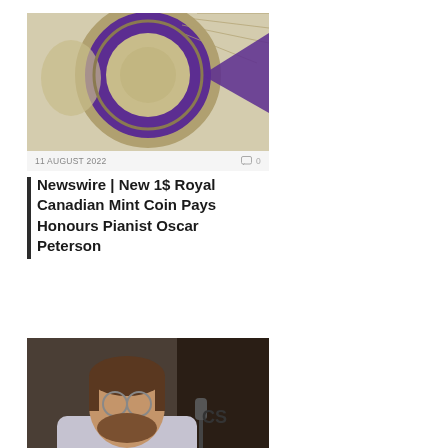[Figure (photo): Close-up of a coin with purple background, maple leaf design — Royal Canadian Mint coin honoring Oscar Peterson]
11 AUGUST 2022   0
Newswire | New 1$ Royal Canadian Mint Coin Pays Honours Pianist Oscar Peterson
[Figure (photo): Photo of a bearded man with glasses speaking into a microphone]
2 AUGUST 2022   0